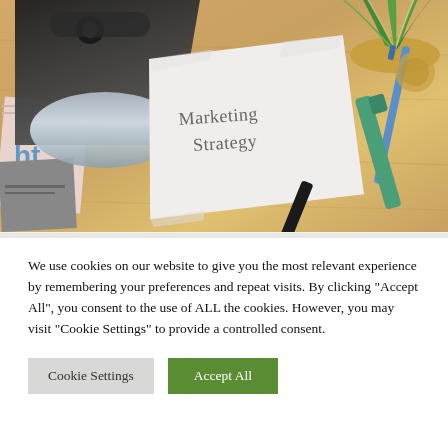[Figure (photo): Overhead/flat-lay photo of a wooden desk with a black clothes iron, a crumpled white paper reading 'Marketing Strategy', a green plant, a teal marker, a blue pen, a black marker, and colorful papers/magazine.]
We use cookies on our website to give you the most relevant experience by remembering your preferences and repeat visits. By clicking "Accept All", you consent to the use of ALL the cookies. However, you may visit "Cookie Settings" to provide a controlled consent.